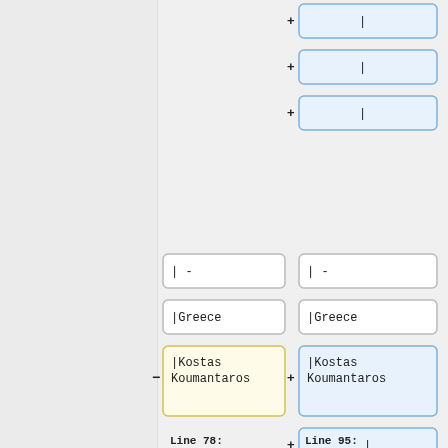[Figure (screenshot): Wiki diff view showing two columns of wikitext lines being compared. Left column (old) and right column (new) show added/removed/changed lines. Lines shown: three added '+ |' lines at top right, then '|-' in both columns, '|Greece' in both, '|Kostas Koumantaros' removed from left (yellow) and added to right (blue), three more '+ |' lines in right, then '|' and '|-' in both columns, with 'Line 78:' and 'Line 95:' labels at bottom.]
Line 78:
Line 95: